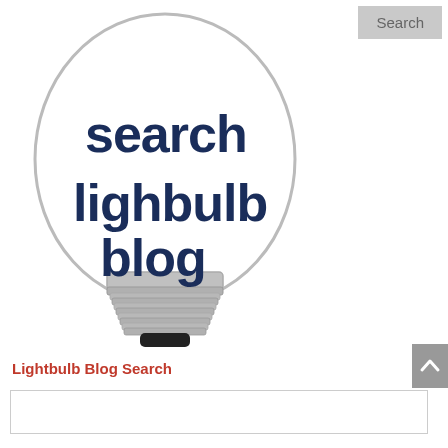Search
[Figure (logo): Search Lightbulb Blog logo — a lightbulb illustration with the text 'search lightbulb blog' in dark navy bold font inside the bulb glass]
Lightbulb Blog Search
[Figure (other): Back to top arrow button (grey, upward chevron)]